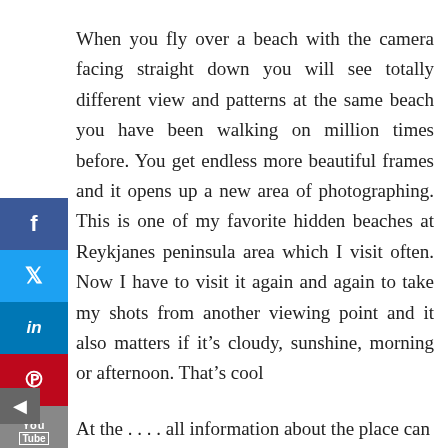When you fly over a beach with the camera facing straight down you will see totally different view and patterns at the same beach you have been walking on million times before. You get endless more beautiful frames and it opens up a new area of photographing. This is one of my favorite hidden beaches at Reykjanes peninsula area which I visit often. Now I have to visit it again and again to take my shots from another viewing point and it also matters if it's cloudy, sunshine, morning or afternoon. That's cool
At the . . . . all information about the place can be